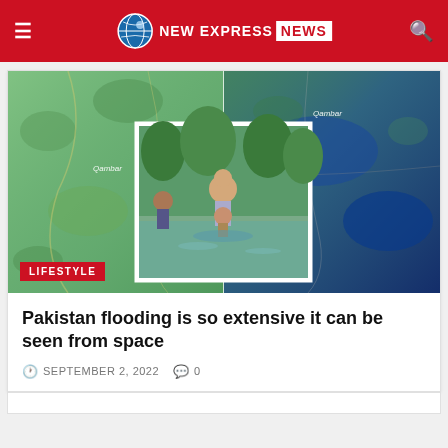NEW EXPRESS NEWS
[Figure (photo): Composite image showing satellite views of Pakistan flooding (left: pre-flood green landscape labeled Qambar, right: post-flood blue/dark landscape labeled Qambar) with an overlaid inset photo of people wading through floodwaters, and a LIFESTYLE badge in the lower left corner.]
Pakistan flooding is so extensive it can be seen from space
SEPTEMBER 2, 2022   0